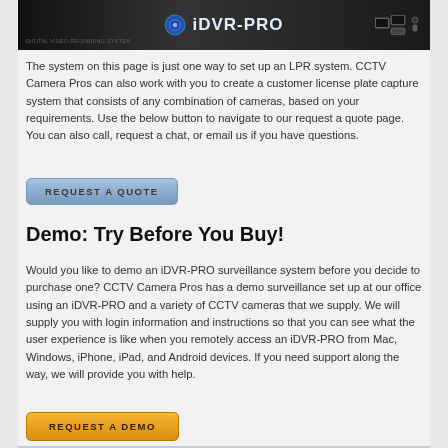[Figure (photo): iDVR-PRO digital video recording system device front panel, dark hardware unit with logo]
The system on this page is just one way to set up an LPR system. CCTV Camera Pros can also work with you to create a customer license plate capture system that consists of any combination of cameras, based on your requirements. Use the below button to navigate to our request a quote page. You can also call, request a chat, or email us if you have questions.
REQUEST A QUOTE
Demo: Try Before You Buy!
Would you like to demo an iDVR-PRO surveillance system before you decide to purchase one? CCTV Camera Pros has a demo surveillance set up at our office using an iDVR-PRO and a variety of CCTV cameras that we supply. We will supply you with login information and instructions so that you can see what the user experience is like when you remotely access an iDVR-PRO from Mac, Windows, iPhone, iPad, and Android devices. If you need support along the way, we will provide you with help.
REQUEST A DEMO